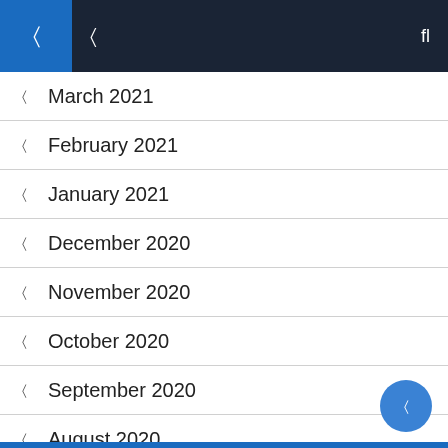Navigation bar with hamburger menu and search icon
March 2021
February 2021
January 2021
December 2020
November 2020
October 2020
September 2020
August 2020
June 2020